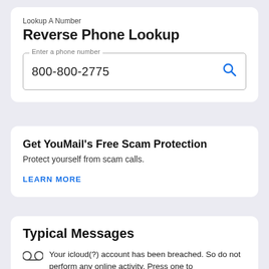Lookup A Number
Reverse Phone Lookup
800-800-2775
Get YouMail's Free Scam Protection
Protect yourself from scam calls.
LEARN MORE
Typical Messages
Your icloud(?) account has been breached. So do not perform any online activity. Press one to